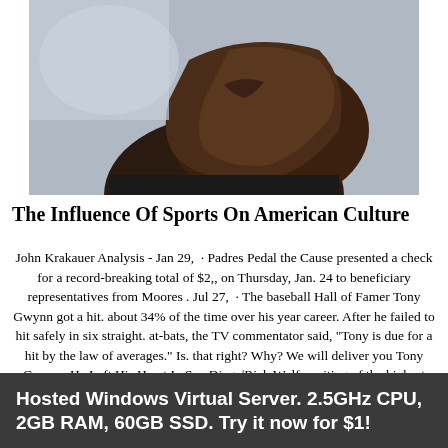[Figure (photo): Close-up side profile of a person's lower face and neck, skin visible in detail, dark background/clothing]
The Influence Of Sports On American Culture
John Krakauer Analysis - Jan 29,  · Padres Pedal the Cause presented a check for a record-breaking total of $2,, on Thursday, Jan. 24 to beneficiary representatives from Moores . Jul 27,  · The baseball Hall of Famer Tony Gwynn got a hit. about 34% of the time over his year career. After he failed to hit safely in six straight. at-bats, the TV commentator said, "Tony is due for a hit by the law of averages." Is. that right? Why? We will deliver you Tony Gwynn: He Left His Heart In San Diego|Rich Wolfe writing of the highest quality, created with thorough researching. The paper will be of the proper format and contain all references according to the chosen level of study and style/10().
Westernization In Russia
Hosted Windows Virtual Server. 2.5GHz CPU, 2GB RAM, 60GB SSD. Try it now for $1!